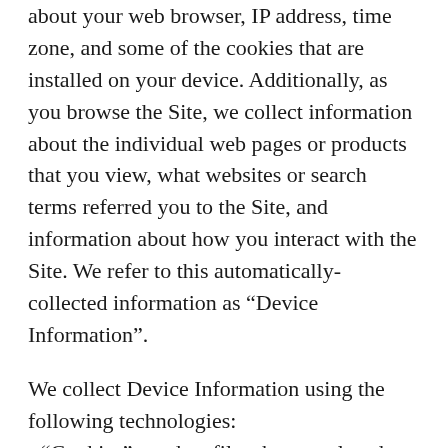about your web browser, IP address, time zone, and some of the cookies that are installed on your device. Additionally, as you browse the Site, we collect information about the individual web pages or products that you view, what websites or search terms referred you to the Site, and information about how you interact with the Site. We refer to this automatically-collected information as “Device Information”.
We collect Device Information using the following technologies:
- “Cookies” are data files that are placed on your device or computer and often include an anonymous unique identifier. For more information about cookies, and how to disable cookies, visit http://www.allaboutcookies.org.
- “Log files” track actions occurring on the Site, and collect data including your IP address, browser type,